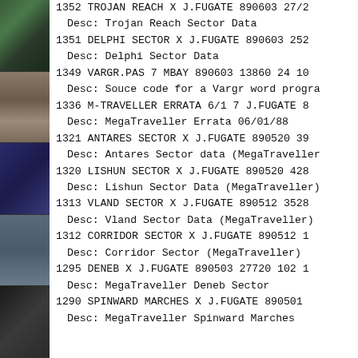1352 TROJAN REACH X J.FUGATE 890603 27/2
Desc: Trojan Reach Sector Data
1351 DELPHI SECTOR X J.FUGATE 890603 252
Desc: Delphi Sector Data
1349 VARGR.PAS 7 MBAY 890603 13860 24 10
Desc: Souce code for a Vargr word progra
1336 M-TRAVELLER ERRATA 6/1 7 J.FUGATE 8
Desc: MegaTraveller Errata 06/01/88
1321 ANTARES SECTOR X J.FUGATE 890520 39
Desc: Antares Sector data (MegaTraveller
1320 LISHUN SECTOR X J.FUGATE 890520 428
Desc: Lishun Sector Data (MegaTraveller)
1313 VLAND SECTOR X J.FUGATE 890512 3528
Desc: Vland Sector Data (MegaTraveller)
1312 CORRIDOR SECTOR X J.FUGATE 890512 1
Desc: Corridor Sector (MegaTraveller)
1295 DENEB X J.FUGATE 890503 27720 102 1
Desc: MegaTraveller Deneb Sector
1290 SPINWARD MARCHES X J.FUGATE 890501
Desc: MegaTraveller Spinward Marches